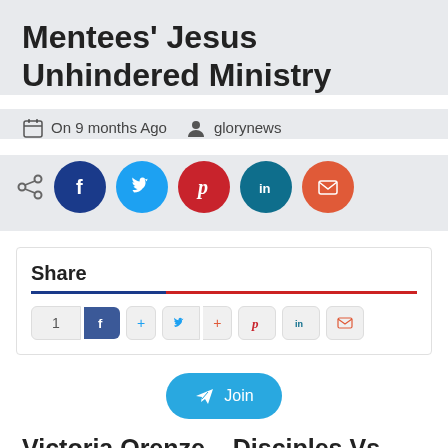Mentees' Jesus Unhindered Ministry
On 9 months Ago   glorynews
[Figure (infographic): Social share icons: share symbol, Facebook (dark blue circle), Twitter (light blue circle), Pinterest (dark red circle), LinkedIn (dark teal circle), Email (orange-red circle)]
Share
[Figure (infographic): Share widget with count '1', Facebook, plus, Twitter, plus, Pinterest, LinkedIn, and email share buttons in grey pill shapes]
[Figure (infographic): Telegram Join button (blue rounded pill with paper plane icon and 'Join' text)]
Victoria Orenze – Disciples Vs